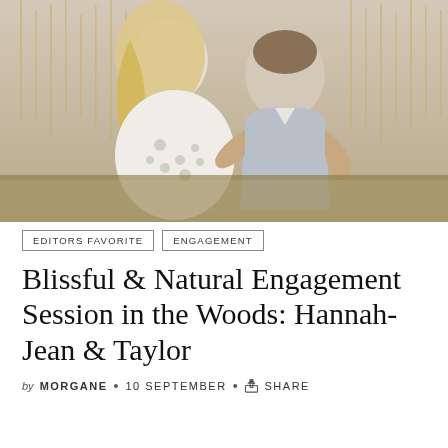[Figure (photo): A couple sitting in a field with tall golden grass. A blonde woman in a floral dress and a man in a light grey suit embrace and kiss.]
EDITORS FAVORITE   ENGAGEMENT
Blissful & Natural Engagement Session in the Woods: Hannah-Jean & Taylor
by MORGANE • 10 SEPTEMBER • SHARE